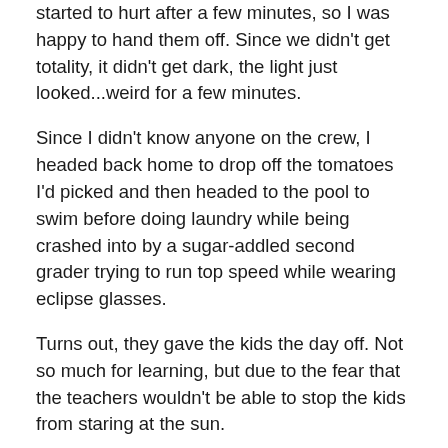started to hurt after a few minutes, so I was happy to hand them off. Since we didn't get totality, it didn't get dark, the light just looked...weird for a few minutes.
Since I didn't know anyone on the crew, I headed back home to drop off the tomatoes I'd picked and then headed to the pool to swim before doing laundry while being crashed into by a sugar-addled second grader trying to run top speed while wearing eclipse glasses.
Turns out, they gave the kids the day off. Not so much for learning, but due to the fear that the teachers wouldn't be able to stop the kids from staring at the sun.
Sounds reasonable.
I'll make work calls tomorrow, and should get something by the end of the week.